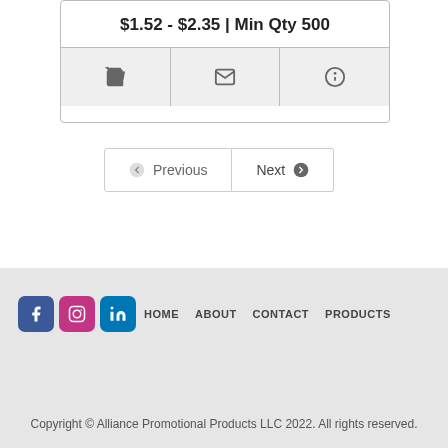$1.52 - $2.35 | Min Qty 500
[Figure (other): Three icon buttons: shopping cart, envelope/email, info]
Previous  Next
[Figure (other): Social media icons: Facebook, Instagram, LinkedIn]
HOME  ABOUT  CONTACT  PRODUCTS
Copyright © Alliance Promotional Products LLC 2022. All rights reserved.